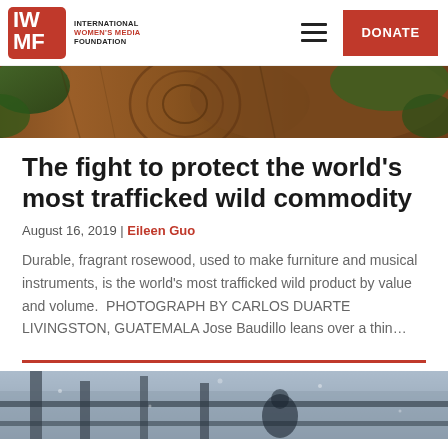International Women's Media Foundation — DONATE
[Figure (photo): Close-up photo of rosewood logs and tropical foliage]
The fight to protect the world's most trafficked wild commodity
August 16, 2019 | Eileen Guo
Durable, fragrant rosewood, used to make furniture and musical instruments, is the world's most trafficked wild product by value and volume.  PHOTOGRAPH BY CARLOS DUARTE  LIVINGSTON, GUATEMALA Jose Baudillo leans over a thin…
[Figure (photo): Photo partially visible at bottom — person in blue/grey wintry scene]